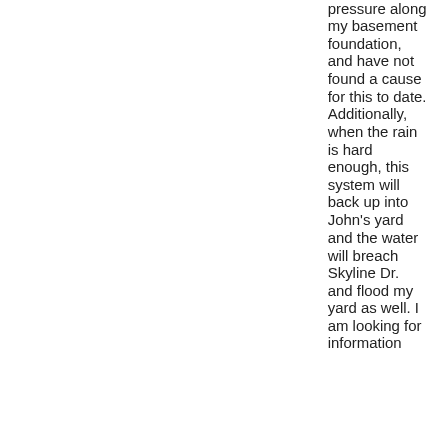pressure along my basement foundation, and have not found a cause for this to date. Additionally, when the rain is hard enough, this system will back up into John's yard and the water will breach Skyline Dr. and flood my yard as well. I am looking for information